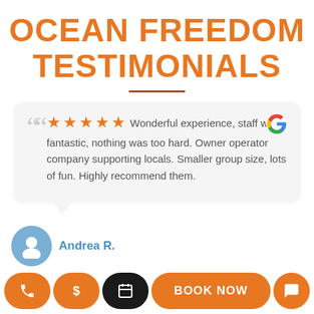OCEAN FREEDOM TESTIMONIALS
Wonderful experience, staff were fantastic, nothing was too hard. Owner operator company supporting locals. Smaller group size, lots of fun. Highly recommend them.
Andrea R.